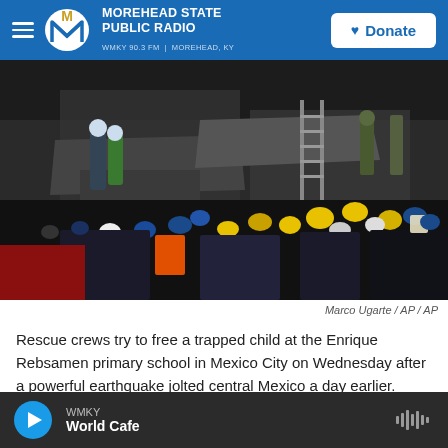MOREHEAD STATE PUBLIC RADIO — WMKY 90.3 FM | MOREHEAD, KY — Donate
[Figure (photo): Rescue crews wearing hard hats and safety gear working at the site of a collapsed building at night, with rubble and debris visible. A large crowd of workers in yellow, blue, and orange helmets are clustered together at the Enrique Rebsamen primary school earthquake rescue site in Mexico City.]
Marco Ugarte / AP / AP
Rescue crews try to free a trapped child at the Enrique Rebsamen primary school in Mexico City on Wednesday after a powerful earthquake jolted central Mexico a day earlier.
WMKY — World Cafe